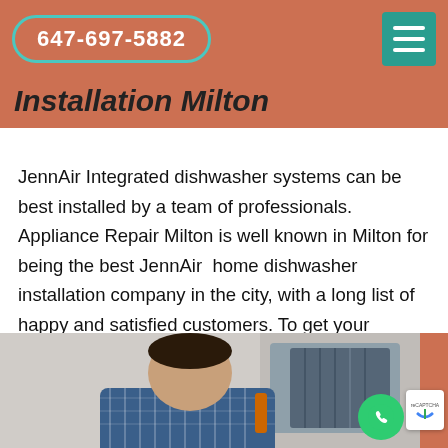647-697-5882
Installation Milton
JennAir Integrated dishwasher systems can be best installed by a team of professionals. Appliance Repair Milton is well known in Milton for being the best JennAir  home dishwasher installation company in the city, with a long list of happy and satisfied customers. To get your JennAir Integrated Dishwasher System Installed you can get in touch with us any time of the day.
[Figure (photo): Technician working on appliance installation, man wearing plaid shirt leaning over equipment]